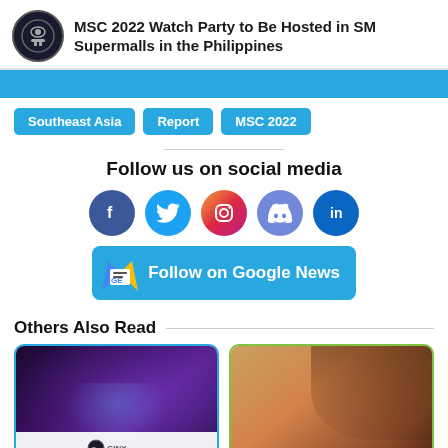MSC 2022 Watch Party to Be Hosted in SM Supermalls in the Philippines
Southeast Asia
Report
MSC 2022
Follow us on social media
[Figure (other): Social media icons: Facebook, Twitter, Instagram, Discord, LinkedIn; Google News follow button]
Others Also Read
[Figure (photo): Gaming character with blue/purple hair, dark outfit]
[Figure (photo): Gaming character in red/orange desert environment]